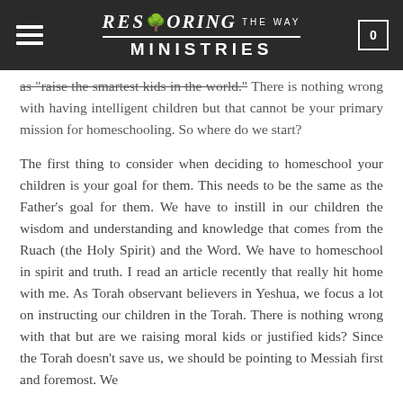Restoring the Way Ministries
as 'raise the smartest kids in the world.' There is nothing wrong with having intelligent children but that cannot be your primary mission for homeschooling. So where do we start?
The first thing to consider when deciding to homeschool your children is your goal for them. This needs to be the same as the Father's goal for them. We have to instill in our children the wisdom and understanding and knowledge that comes from the Ruach (the Holy Spirit) and the Word. We have to homeschool in spirit and truth. I read an article recently that really hit home with me. As Torah observant believers in Yeshua, we focus a lot on instructing our children in the Torah. There is nothing wrong with that but are we raising moral kids or justified kids? Since the Torah doesn't save us, we should be pointing to Messiah first and foremost. We